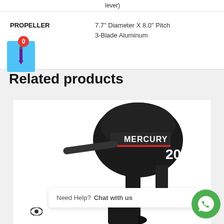lever)
|  |  |
| --- | --- |
| PROPELLER | 7.7" Diameter X 8.0" Pitch
3-Blade Aluminum |
[Figure (illustration): Shopping cart icon with red badge showing 0, on blue background]
Related products
[Figure (photo): Mercury 20 HP outboard motor on white background]
Need Help? Chat with us